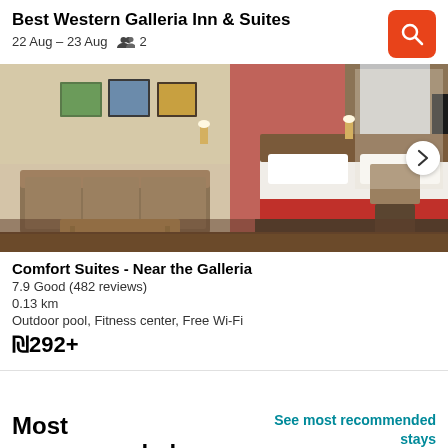Best Western Galleria Inn & Suites
22 Aug – 23 Aug   👥 2
[Figure (photo): Hotel room interior showing a brown sofa, wooden coffee table, bed with red accent blanket, wall art, wall sconces, desk with office chair, and large window with curtains.]
Comfort Suites - Near the Galleria
7.9 Good (482 reviews)
0.13 km
Outdoor pool, Fitness center, Free Wi-Fi
₪292+
Most recommended
See most recommended stays in Houston